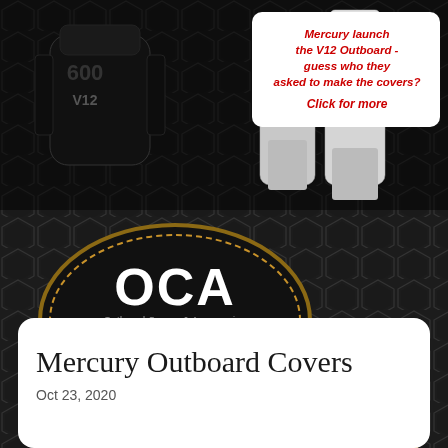[Figure (screenshot): OCA Outboard Covers and Accessories website header. Dark hexagonal pattern background. Top section shows Mercury V12 outboard engine cover photo on left, two white Mercury outboard engines on right, with white callout box containing red italic text: 'Mercury launch the V12 Outboard - guess who they asked to make the covers? Click for more'. Center shows OCA logo in gold-bordered oval with propeller icon and text 'Outboard Covers & Accessories' and 'www.outboardcovers.com'. Below logo reads 'The Manufacturers Choice' in white. Hamburger menu icon in gold on right. Bottom white card shows article title 'Mercury Outboard Covers' with date 'Oct 23, 2020'.]
Mercury launch the V12 Outboard - guess who they asked to make the covers? Click for more
Mercury Outboard Covers
Oct 23, 2020